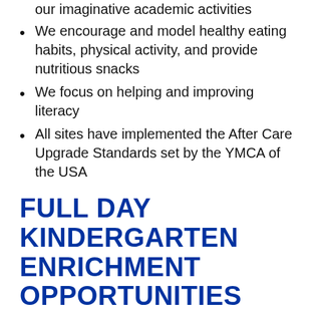our imaginative academic activities
We encourage and model healthy eating habits, physical activity, and provide nutritious snacks
We focus on helping and improving literacy
All sites have implemented the After Care Upgrade Standards set by the YMCA of the USA
FULL DAY KINDERGARTEN ENRICHMENT OPPORTUNITIES
Our Kindergarten programs are located at Grace Church, right next door to the Liberty Tree/Dowell YMCA at 7600 Liberty Rd…